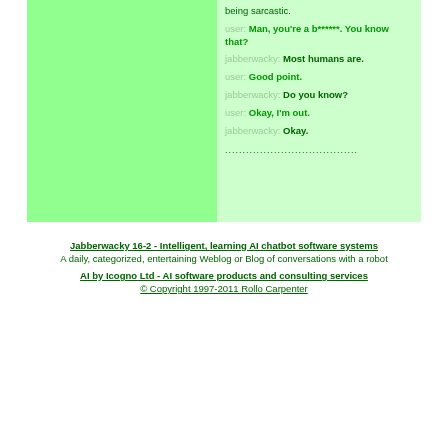being sarcastic.
user: Man, you're a b******. You know that?
jabberwacky: Most humans are.
user: Good point.
jabberwacky: Do you know?
user: Okay, I'm out.
jabberwacky: Okay.
......................................
Jabberwacky 16-2 - Intelligent, learning AI chatbot software systems
A daily, categorized, entertaining Weblog or Blog of conversations with a robot
AI by Icogno Ltd - AI software products and consulting services
© Copyright 1997-2011 Rollo Carpenter